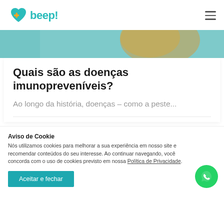[Figure (logo): Beep Saúde logo with heart/cross icon in teal and orange, text 'beep!' in teal]
[Figure (photo): Partial photo of a person, teal and warm tones, cropped at top]
Quais são as doenças imunopreveníveis?
Ao longo da história, doenças – como a peste...
Aviso de Cookie
Nós utilizamos cookies para melhorar a sua experiência em nosso site e recomendar conteúdos do seu interesse. Ao continuar navegando, você concorda com o uso de cookies previsto em nossa Política de Privacidade.
Aceitar e fechar